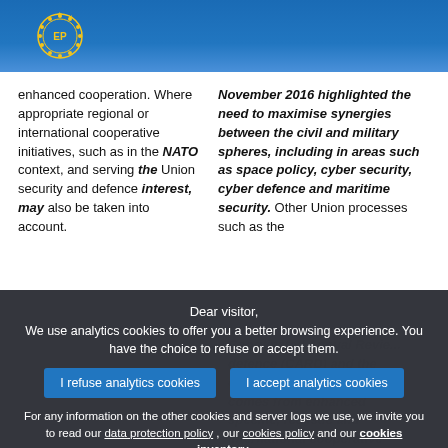European Parliament header with logo
enhanced cooperation. Where appropriate regional or international cooperative initiatives, such as in the NATO context, and serving the Union security and defence interest, may also be taken into account.
November 2016 highlighted the need to maximise synergies between the civil and military spheres, including in areas such as space policy, cyber security, cyber defence and maritime security. Other Union processes such as the
Dear visitor, We use analytics cookies to offer you a better browsing experience. You have the choice to refuse or accept them.
I refuse analytics cookies
I accept analytics cookies
For any information on the other cookies and server logs we use, we invite you to read our data protection policy , our cookies policy and our cookies inventory.